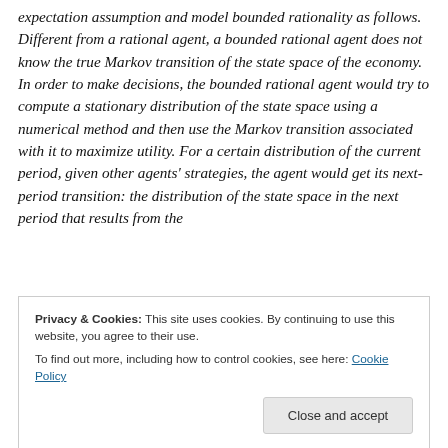expectation assumption and model bounded rationality as follows. Different from a rational agent, a bounded rational agent does not know the true Markov transition of the state space of the economy. In order to make decisions, the bounded rational agent would try to compute a stationary distribution of the state space using a numerical method and then use the Markov transition associated with it to maximize utility. For a certain distribution of the current period, given other agents' strategies, the agent would get its next-period transition: the distribution of the state space in the next period that results from the
Privacy & Cookies: This site uses cookies. By continuing to use this website, you agree to their use.
To find out more, including how to control cookies, see here: Cookie Policy
equilibrium, each agent maximizes utility with a